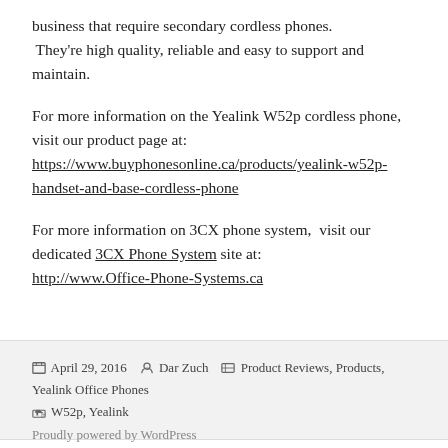business that require secondary cordless phones.  They're high quality, reliable and easy to support and maintain.
For more information on the Yealink W52p cordless phone,  visit our product page at: https://www.buyphonesonline.ca/products/yealink-w52p-handset-and-base-cordless-phone
For more information on 3CX phone system,  visit our dedicated 3CX Phone System site at: http://www.Office-Phone-Systems.ca
April 29, 2016   Dar Zuch   Product Reviews, Products, Yealink Office Phones   W52p, Yealink
Proudly powered by WordPress